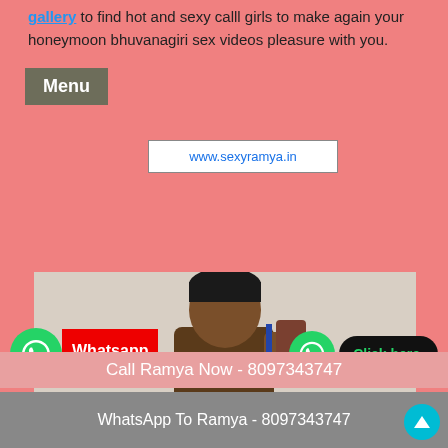gallery to find hot and sexy calll girls to make again your honeymoon bhuvanagiri sex videos pleasure with you.
Menu
www.sexyramya.in
[Figure (photo): Photo of a person with dark short hair, upper body visible, indoor background]
Whatsapp click to chat
Click here.
Call Ramya Now - 8097343747
WhatsApp To Ramya - 8097343747